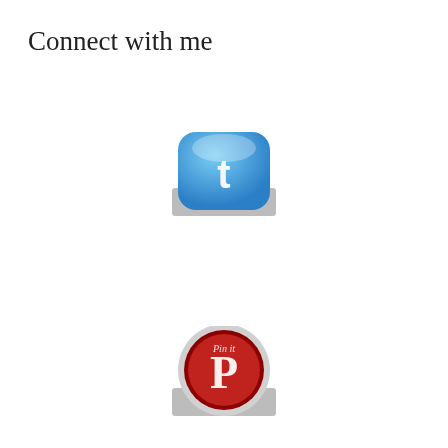Connect with me
[Figure (illustration): Blue glossy rounded square Twitter/social icon with a white letter 't' in the center, displayed with a grey rectangular shadow/bar behind it.]
[Figure (illustration): Red circular Pinterest icon with a white script 'Pin it' text and Pinterest 'P' logo, displayed with a grey rectangular shadow/bar behind it.]
Latest posts
Privacy & Cookies: This site uses cookies. By continuing to use this website, you agree to their use.
To find out more, including how to control cookies, see here:
Cookie Policy
Close and accept